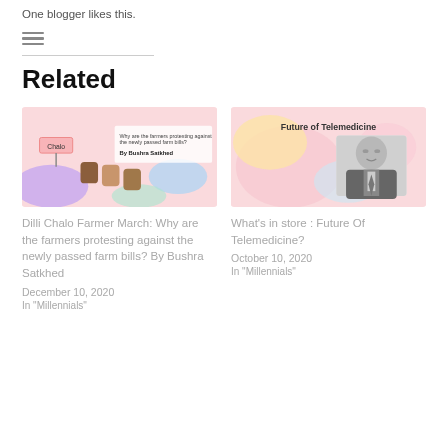One blogger likes this.
[Figure (illustration): Hamburger menu icon (three horizontal lines)]
[Figure (illustration): Left card thumbnail: Dilli Chalo farmer protest illustration with raised fists and Chalo sign, text overlay 'Why are the farmers protesting against the newly passed farm bills? By Bushra Satkhed']
Dilli Chalo Farmer March: Why are the farmers protesting against the newly passed farm bills? By Bushra Satkhed
December 10, 2020
In "Millennials"
[Figure (photo): Right card thumbnail: Future of Telemedicine - colorful abstract background with black and white photo of a man in suit seated at desk]
What's in store : Future Of Telemedicine?
October 10, 2020
In "Millennials"